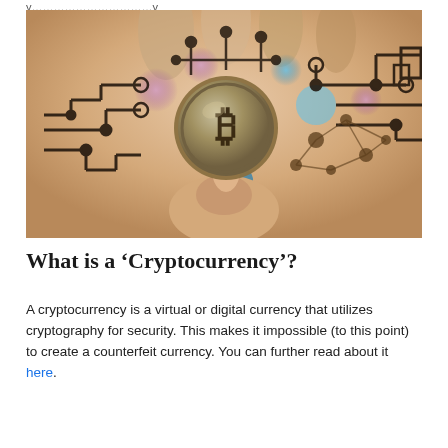y...y
[Figure (photo): A hand pointing at a Bitcoin coin overlaid with circuit board graphics and network nodes, representing cryptocurrency and blockchain technology]
What is a ‘Cryptocurrency’?
A cryptocurrency is a virtual or digital currency that utilizes cryptography for security. This makes it impossible (to this point) to create a counterfeit currency. You can further read about it here.